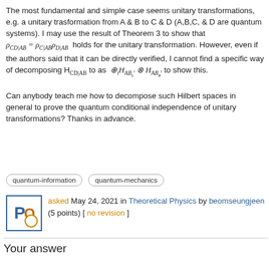The most fundamental and simple case seems unitary transformations, e.g. a unitary trasformation from A & B to C & D (A,B,C, & D are quantum systems). I may use the result of Theorem 3 to show that ρ_{CD|AB} = ρ_{C|AB}ρ_{D|AB} holds for the unitary transformation. However, even if the authors said that it can be directly verified, I cannot find a specific way of decomposing H_{CD|AB} to as ⊕_i H_{AB_L^i} ⊗ H_{AB_R^i} to show this.
Can anybody teach me how to decompose such Hilbert spaces in general to prove the quantum conditional independence of unitary transformations? Thanks in advance.
quantum-information
quantum-mechanics
[Figure (logo): User avatar icon with letters PO and a circle]
asked May 24, 2021 in Theoretical Physics by beomseungjeen (5 points) [ no revision ]
Your answer
Loading [MathJax]/jax/output/HTML-CSS/jax.js  artly) answer questions.